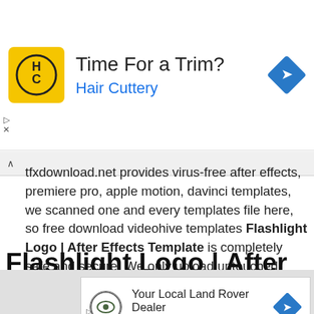[Figure (advertisement): Hair Cuttery ad banner with yellow HC logo, headline 'Time For a Trim?', subline 'Hair Cuttery', and blue navigation diamond icon]
tfxdownload.net provides virus-free after effects, premiere pro, apple motion, davinci templates, we scanned one and every templates file here, so free download videohive templates Flashlight Logo | After Effects Template is completely safe and secure. We only upload untouched template files, which are directly downloaded from the original marketplace.
Flashlight Logo | After Effects
[Figure (advertisement): Land Rover / Don Beyer Volvo Cars of Dulles ad banner with Land Rover circular logo, headline 'Your Local Land Rover Dealer', subline 'Don Beyer Volvo Cars of Dulles', and blue navigation diamond icon]